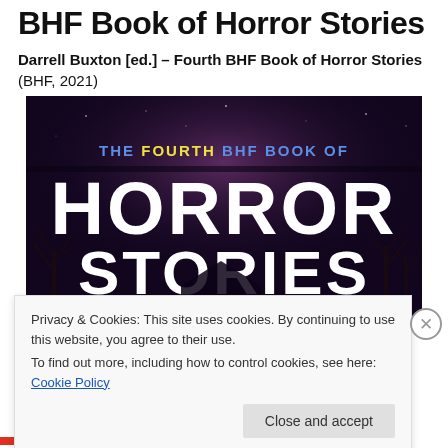BHF Book of Horror Stories
Darrell Buxton [ed.] – Fourth BHF Book of Horror Stories (BHF, 2021)
[Figure (photo): Book cover of 'The Fourth BHF Book of Horror Stories' — dark background with blue and yellow title text at top, large white bold horror-font text reading HORROR STORIES, with spooky trees and haunted house imagery, BHF Books logo top right.]
Privacy & Cookies: This site uses cookies. By continuing to use this website, you agree to their use.
To find out more, including how to control cookies, see here: Cookie Policy